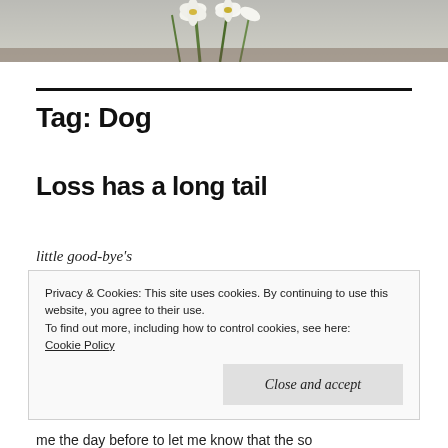[Figure (photo): Cropped photo showing white lilies/flowers with green stems against a blurred background]
Tag: Dog
Loss has a long tail
little good-bye's
Privacy & Cookies: This site uses cookies. By continuing to use this website, you agree to their use.
To find out more, including how to control cookies, see here:
Cookie Policy
Close and accept
me the day before to let me know that the so